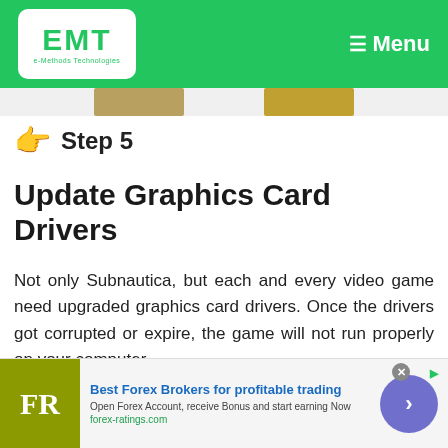e-Methods Technologies — Menu
Step 5
Update Graphics Card Drivers
Not only Subnautica, but each and every video game need upgraded graphics card drivers. Once the drivers got corrupted or expire, the game will not run properly on your computer.
[Figure (other): Advertisement banner: Best Forex Brokers for profitable trading. FR logo on olive background. Open Forex Account, receive Bonus and start earning Now. forex-ratings.com]
Best Forex Brokers for profitable trading